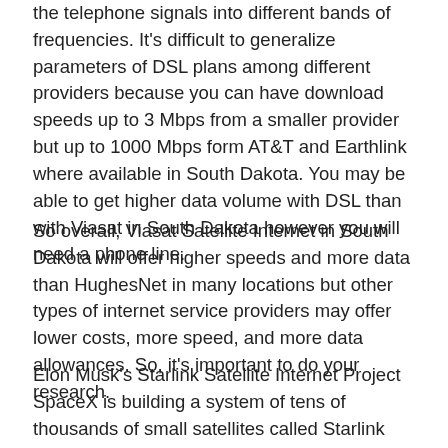the telephone signals into different bands of frequencies. It's difficult to generalize parameters of DSL plans among different providers because you can have download speeds up to 3 Mbps from a smaller provider but up to 1000 Mbps form AT&T and Earthlink where available in South Dakota. You may be able to get higher data volume with DSL than with Viasat in South Dakota however you will need a phone line.
So overall, Viasat Satellite Internet in South Dakota will offer higher speeds and more data than HughesNet in many locations but other types of internet service providers may offer lower costs, more speed, and more data allowances. So, it's important to do your research.
Elon Musk's Starlink Satellite Internet Project SpaceX is building a system of tens of thousands of small satellites called Starlink that will ping transceivers on earth. It's not without controversy in that, that many objects in orbit could literally change the appearance of